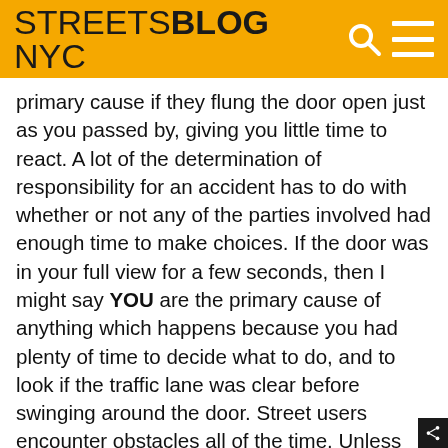STREETSBLOG NYC
primary cause if they flung the door open just as you passed by, giving you little time to react. A lot of the determination of responsibility for an accident has to do with whether or not any of the parties involved had enough time to make choices. If the door was in your full view for a few seconds, then I might say YOU are the primary cause of anything which happens because you had plenty of time to decide what to do, and to look if the traffic lane was clear before swinging around the door. Street users encounter obstacles all of the time. Unless the obstacle suddenly appears right in front of you, nobody but you is responsible for the results if you make a bad decision trying to avoid said obstacle. If the obstacle was due to illegal activity on the part of another person,  then they are at least culpable if something bad happens, but not necessarily the primary cause. Chances are good if the police were here and saw everything, they likely would have just issued the cyclist a ticket for riding against traffic and sent him on his way. Or at least that's how they would treat things if the cyclist were a motor vehicle.